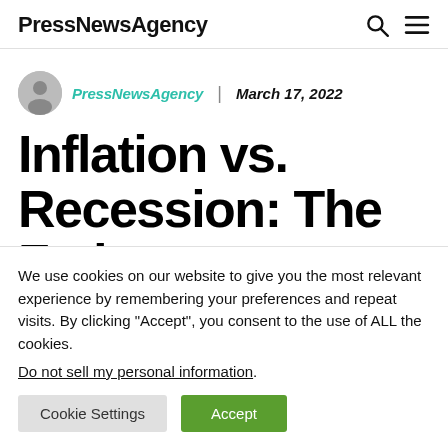PressNewsAgency
PressNewsAgency | March 17, 2022
Inflation vs. Recession: The Fed
We use cookies on our website to give you the most relevant experience by remembering your preferences and repeat visits. By clicking "Accept", you consent to the use of ALL the cookies.
Do not sell my personal information.
Cookie Settings  Accept